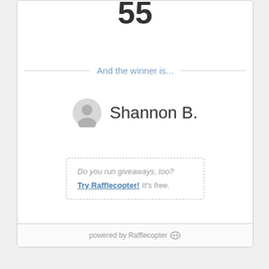And the winner is...
Shannon B.
Do you run giveaways, too? Try Rafflecopter! It's free.
powered by Rafflecopter